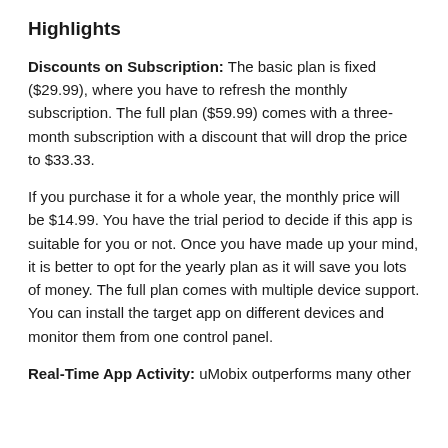Highlights
Discounts on Subscription: The basic plan is fixed ($29.99), where you have to refresh the monthly subscription. The full plan ($59.99) comes with a three-month subscription with a discount that will drop the price to $33.33.
If you purchase it for a whole year, the monthly price will be $14.99. You have the trial period to decide if this app is suitable for you or not. Once you have made up your mind, it is better to opt for the yearly plan as it will save you lots of money. The full plan comes with multiple device support. You can install the target app on different devices and monitor them from one control panel.
Real-Time App Activity: uMobix outperforms many other